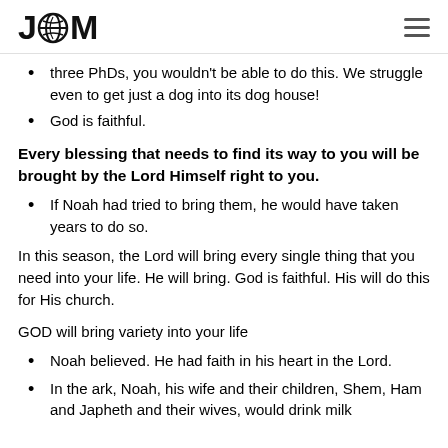JGM (logo with globe)
three PhDs, you wouldn't be able to do this. We struggle even to get just a dog into its dog house!
God is faithful.
Every blessing that needs to find its way to you will be brought by the Lord Himself right to you.
If Noah had tried to bring them, he would have taken years to do so.
In this season, the Lord will bring every single thing that you need into your life. He will bring. God is faithful. His will do this for His church.
GOD will bring variety into your life
Noah believed. He had faith in his heart in the Lord.
In the ark, Noah, his wife and their children, Shem, Ham and Japheth and their wives, would drink milk